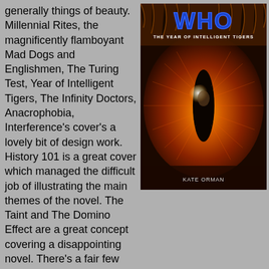generally things of beauty. Millennial Rites, the magnificently flamboyant Mad Dogs and Englishmen, The Turing Test, Year of Intelligent Tigers, The Infinity Doctors, Anacrophobia, Interference's cover's a lovely bit of design work. History 101 is a great cover which managed the difficult job of illustrating the main themes of the novel. The Taint and The Domino Effect are a great concept covering a disappointing novel. There's a fair few Targets too, of which Ghost Light is the finest. Wonderfully moody.
[Figure (photo): Book cover of Doctor Who: The Year of Intelligent Tigers by Kate Orman, showing a close-up of a tiger's eye with a reflection of a man's face visible in the iris, in orange and brown tones. The Doctor Who logo appears at the top.]
Least favourite covers: No Future and Set Piece just look shoddy and amateurish. Otherwise I'd be more critical of design flaws - the NAs initially suffered due to the insistence that they had to portray an actual scene from the story, the PDAs were lumped with a nasty 'Doctor's head in a swirl'